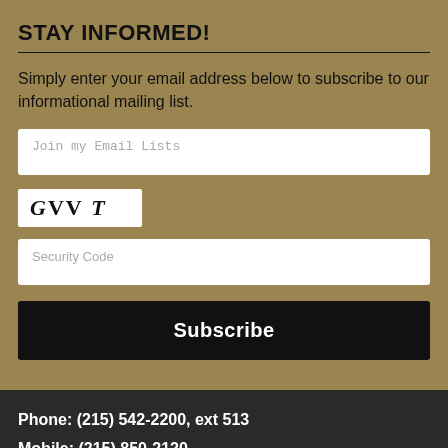STAY INFORMED!
Simply enter your email address below to subscribe to our informational mailing list.
[Figure (screenshot): Email input field with placeholder text 'Join my Email Lists']
[Figure (screenshot): CAPTCHA image showing stylized text 'GVV T' in serif/italic font on white background]
[Figure (screenshot): Security code input field with placeholder text 'Security Code']
[Figure (screenshot): Subscribe button, black background with white bold text 'Subscribe']
Phone: (215) 542-2200, ext 513
Mobile: (215) 850-2120
Email: janedouglass43@gmail.com